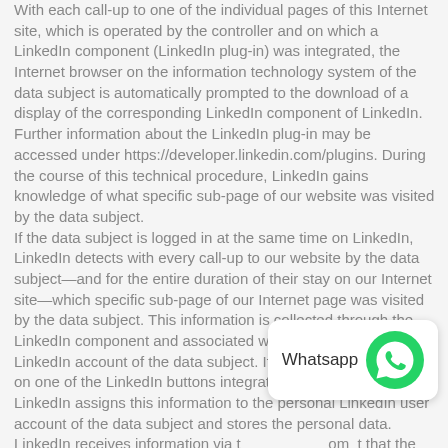With each call-up to one of the individual pages of this Internet site, which is operated by the controller and on which a LinkedIn component (LinkedIn plug-in) was integrated, the Internet browser on the information technology system of the data subject is automatically prompted to the download of a display of the corresponding LinkedIn component of LinkedIn. Further information about the LinkedIn plug-in may be accessed under https://developer.linkedin.com/plugins. During the course of this technical procedure, LinkedIn gains knowledge of what specific sub-page of our website was visited by the data subject.
If the data subject is logged in at the same time on LinkedIn, LinkedIn detects with every call-up to our website by the data subject—and for the entire duration of their stay on our Internet site—which specific sub-page of our Internet page was visited by the data subject. This information is collected through the LinkedIn component and associated with the respective LinkedIn account of the data subject. If the data subject clicks on one of the LinkedIn buttons integrated on our website, then LinkedIn assigns this information to the personal LinkedIn user account of the data subject and stores the personal data.
LinkedIn receives information via t                       om  that the data subject has visited o               vid  the data subject is logged in at LinkedIn at the time of the call-up to our website. This occurs regardless of whether the person clicks on the LinkedIn button or not. If such a
[Figure (logo): WhatsApp notification overlay with label 'Whatsapp' and green WhatsApp logo icon]